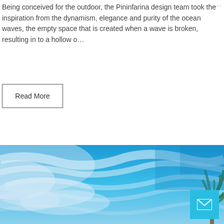Being conceived for the outdoor, the Pininfarina design team took the inspiration from the dynamism, elegance and purity of the ocean waves, the empty space that is created when a wave is broken, resulting in to a hollow o...
Read More
[Figure (photo): A wide panoramic photo of a vivid blue sky with wispy white clouds, and a palm tree visible on the right edge.]